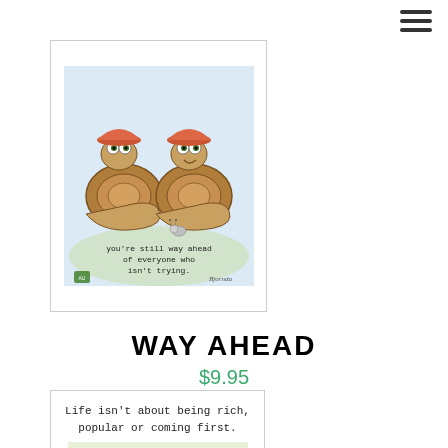[Figure (illustration): Hamburger menu icon with three horizontal dark bars in top right corner]
[Figure (illustration): Greeting card illustration showing two cartoon snails with mushroom hats, with text 'you're still way ahead of everyone who isn't trying.' and a signature below]
WAY AHEAD
$9.95
[Figure (illustration): Greeting card illustration showing cartoon animals in foliage with text 'Life isn't about being rich, popular or coming first.']